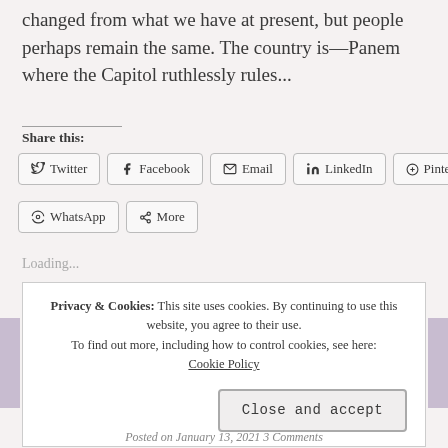changed from what we have at present, but people perhaps remain the same. The country is—Panem where the Capitol ruthlessly rules...
Share this:
[Figure (other): Social share buttons: Twitter, Facebook, Email, LinkedIn, Pinterest, WhatsApp, More]
Loading...
Privacy & Cookies: This site uses cookies. By continuing to use this website, you agree to their use. To find out more, including how to control cookies, see here: Cookie Policy
Close and accept
Posted on January 13, 2021 3 Comments